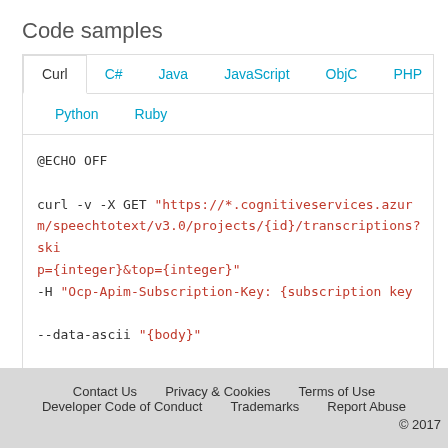Code samples
Curl  C#  Java  JavaScript  ObjC  PHP  Python  Ruby
@ECHO OFF

curl -v -X GET "https://*.cognitiveservices.azure.com/speechtotext/v3.0/projects/{id}/transcriptions?skip={integer}&top={integer}"
-H "Ocp-Apim-Subscription-Key: {subscription key}"

--data-ascii "{body}"
Contact Us   Privacy & Cookies   Terms of Use   Developer Code of Conduct   Trademarks   Report Abuse   © 2017